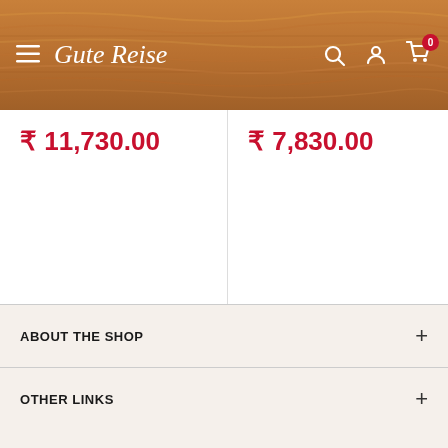Gute Reise — navigation header with hamburger menu, brand name, search, account, and cart (0) icons
₹ 11,730.00
₹ 7,830.00
[Figure (illustration): Package/box delivery icon — outline drawing of a shipping box with diagonal stripes on top flap]
Free delivery nationwide
• • • (carousel dots, first active)
ABOUT THE SHOP
OTHER LINKS